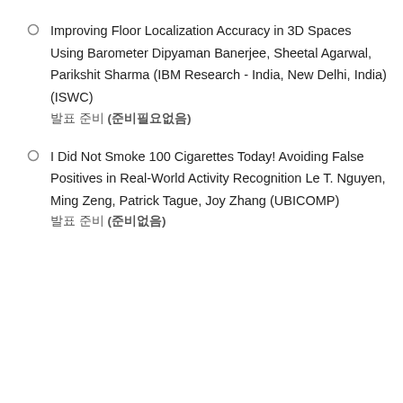Improving Floor Localization Accuracy in 3D Spaces Using Barometer Dipyaman Banerjee, Sheetal Agarwal, Parikshit Sharma (IBM Research - India, New Delhi, India) (ISWC)
발표 준비 (준비필요없음)
I Did Not Smoke 100 Cigarettes Today! Avoiding False Positives in Real-World Activity Recognition Le T. Nguyen, Ming Zeng, Patrick Tague, Joy Zhang (UBICOMP)
발표 준비 (준비없음)